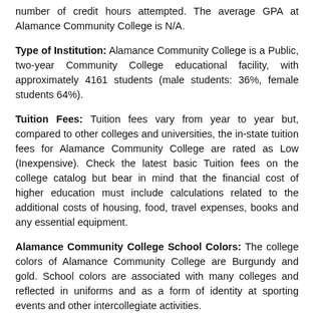number of credit hours attempted. The average GPA at Alamance Community College is N/A.
Type of Institution: Alamance Community College is a Public, two-year Community College educational facility, with approximately 4161 students (male students: 36%, female students 64%).
Tuition Fees: Tuition fees vary from year to year but, compared to other colleges and universities, the in-state tuition fees for Alamance Community College are rated as Low (Inexpensive). Check the latest basic Tuition fees on the college catalog but bear in mind that the financial cost of higher education must include calculations related to the additional costs of housing, food, travel expenses, books and any essential equipment.
Alamance Community College School Colors: The college colors of Alamance Community College are Burgundy and gold. School colors are associated with many colleges and reflected in uniforms and as a form of identity at sporting events and other intercollegiate activities.
Social Life in Alamance Community College - Sports: The social life of many colleges in North Carolina offer a wide range of sports, social, and cultural, extracurricular